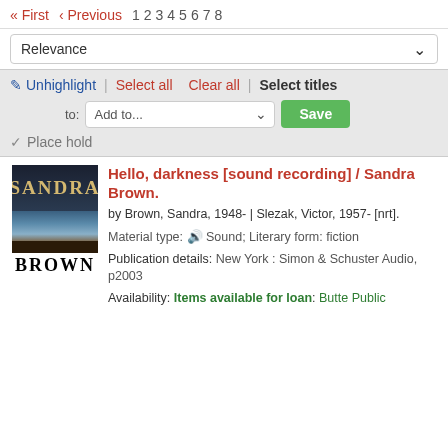« First  < Previous  1  2  3  4  5  6  7  8
Relevance
✏ Unhighlight | Select all  Clear all | Select titles
to: Add to...  Save
🔖 Place hold
[Figure (photo): Book cover for 'Hello, darkness' by Sandra Brown — dark cover with SANDRA on top and BROWN at bottom]
Hello, darkness [sound recording] / Sandra Brown.
by Brown, Sandra, 1948- | Slezak, Victor, 1957- [nrt].
Material type: 🔊 Sound; Literary form: fiction
Publication details: New York : Simon & Schuster Audio, p2003
Availability: Items available for loan: Butte Public